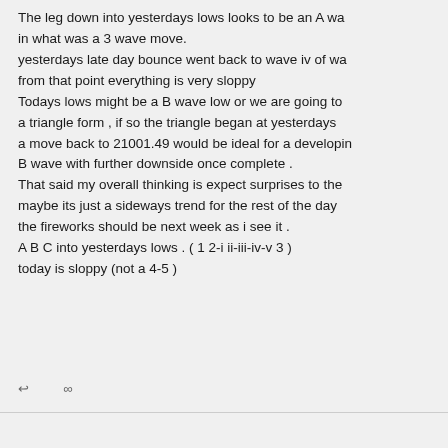The leg down into yesterdays lows looks to be an A wa in what was a 3 wave move. yesterdays late day bounce went back to wave iv of wa from that point everything is very sloppy Todays lows might be a B wave low or we are going to a triangle form , if so the triangle began at yesterdays a move back to 21001.49 would be ideal for a developin B wave with further downside once complete . That said my overall thinking is expect surprises to the maybe its just a sideways trend for the rest of the day the fireworks should be next week as i see it . A B C into yesterdays lows . ( 1 2-i ii-iii-iv-v 3 ) today is sloppy (not a 4-5 )
↩  ∞